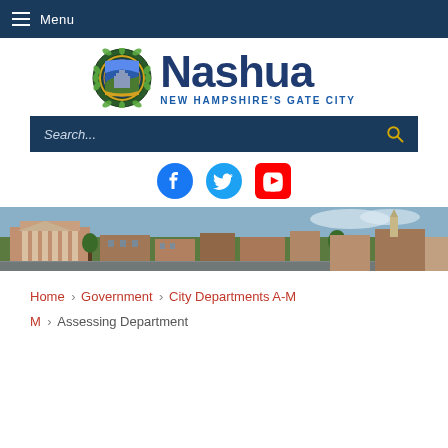Menu
[Figure (logo): Nashua New Hampshire city seal logo with text 'Nashua – New Hampshire's Gate City']
[Figure (other): Search bar with placeholder text 'Search...' and a search icon]
[Figure (other): Social media icons: Facebook, Twitter, YouTube]
[Figure (photo): Aerial/street view photo of Nashua city buildings and downtown area]
Home › Government › City Departments A-M › Assessing Department